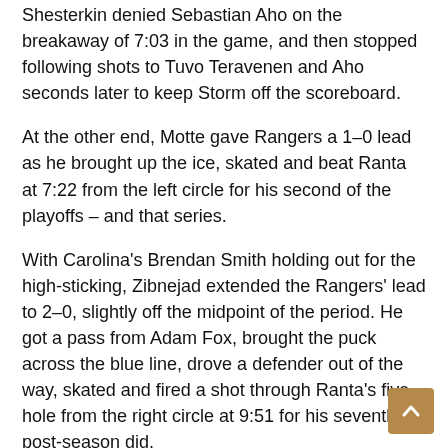Shesterkin denied Sebastian Aho on the breakaway of 7:03 in the game, and then stopped following shots to Tuvo Teravenen and Aho seconds later to keep Storm off the scoreboard.
At the other end, Motte gave Rangers a 1–0 lead as he brought up the ice, skated and beat Ranta at 7:22 from the left circle for his second of the playoffs – and that series.
With Carolina's Brendan Smith holding out for the high-sticking, Zibnejad extended the Rangers' lead to 2–0, slightly off the midpoint of the period. He got a pass from Adam Fox, brought the puck across the blue line, drove a defender out of the way, skated and fired a shot through Ranta's five-hole from the right circle at 9:51 for his seventh post-season did.
This gave the Rangers a power-play goal for the fourth straight game, the achievement in the playoffs for the first time since 2008.